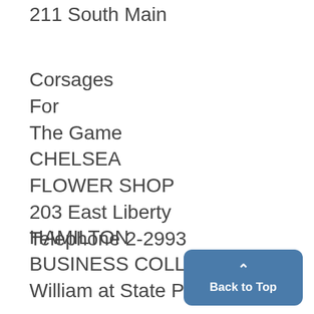211 South Main
Corsages
For
The Game
CHELSEA
FLOWER SHOP
203 East Liberty
Telephone 2-2993
HAMILTON
BUSINESS COLLEGE
William at State Phone 7831